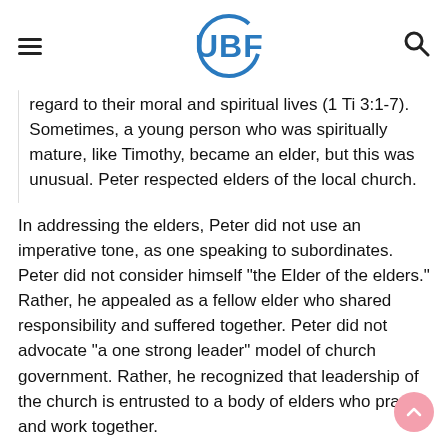UBF
regard to their moral and spiritual lives (1 Ti 3:1-7). Sometimes, a young person who was spiritually mature, like Timothy, became an elder, but this was unusual. Peter respected elders of the local church.
In addressing the elders, Peter did not use an imperative tone, as one speaking to subordinates. Peter did not consider himself "the Elder of the elders." Rather, he appealed as a fellow elder who shared responsibility and suffered together. Peter did not advocate "a one strong leader" model of church government. Rather, he recognized that leadership of the church is entrusted to a body of elders who pray and work together.